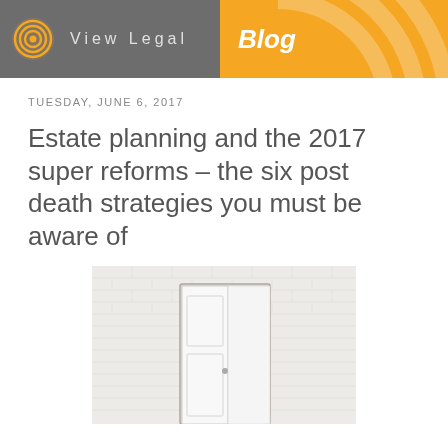View Legal | Blog
TUESDAY, JUNE 6, 2017
Estate planning and the 2017 super reforms – the six post death strategies you must be aware of
[Figure (photo): A white door open in a white brick wall room, photographed straight on with natural light.]